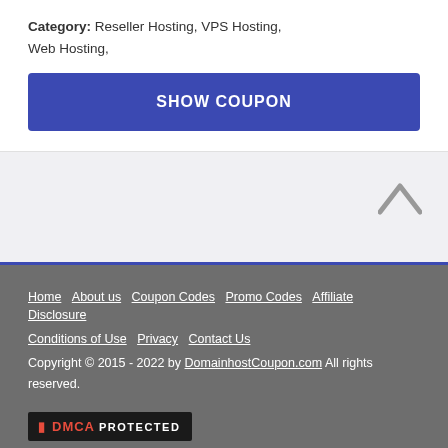Category: Reseller Hosting, VPS Hosting, Web Hosting,
SHOW COUPON
Home  About us  Coupon Codes  Promo Codes  Affiliate Disclosure  Conditions of Use  Privacy  Contact Us
Copyright © 2015 - 2022 by DomainhostCoupon.com All rights reserved.
[Figure (logo): DMCA Protected badge]